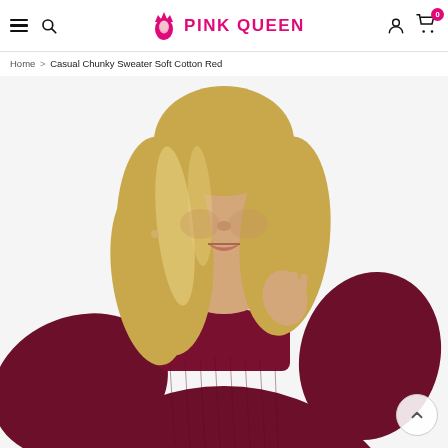Pink Queen — navigation header with hamburger menu, search icon, Pink Queen logo, user account icon, and cart with badge 0
Home > Casual Chunky Sweater Soft Cotton Red
[Figure (photo): Close-up product photo of a blonde woman wearing a dark red/burgundy chunky turtleneck sweater, hand raised to her chin, photographed from shoulders up]
[Figure (other): Back-to-top arrow button (chevron up) overlaid on bottom-right of product image]